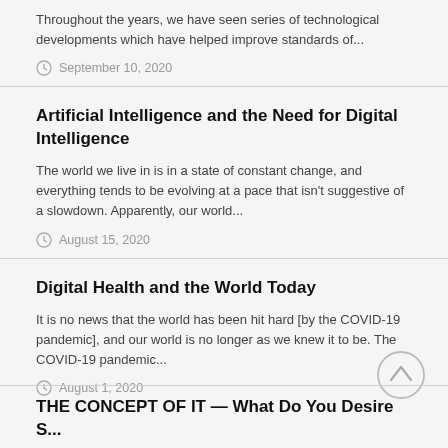Throughout the years, we have seen series of technological developments which have helped improve standards of...
September 10, 2020
Artificial Intelligence and the Need for Digital Intelligence
The world we live in is in a state of constant change, and everything tends to be evolving at a pace that isn't suggestive of a slowdown. Apparently, our world...
August 15, 2020
Digital Health and the World Today
It is no news that the world has been hit hard [by the COVID-19 pandemic], and our world is no longer as we knew it to be. The COVID-19 pandemic...
August 1, 2020
THE CONCEPT OF IT — What Do You Desire S...